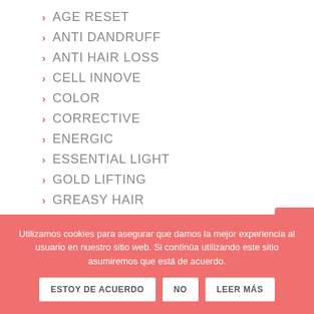AGE RESET
ANTI DANDRUFF
ANTI HAIR LOSS
CELL INNOVE
COLOR
CORRECTIVE
ENERGIC
ESSENTIAL LIGHT
GOLD LIFTING
GREASY HAIR
KERATIN
NATURE PLEX
Utilizamos cookies para asegurar que damos la mejor experiencia al usuario en nuestro sitio web. Si continúa utilizando este sitio asumiremos que está de acuerdo.
ESTOY DE ACUERDO | NO | LEER MÁS